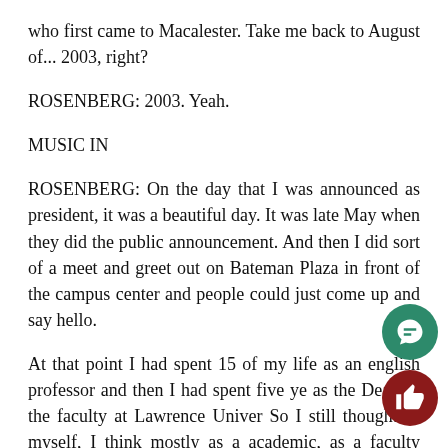who first came to Macalester. Take me back to August of... 2003, right?
ROSENBERG: 2003. Yeah.
MUSIC IN
ROSENBERG: On the day that I was announced as president, it was a beautiful day. It was late May when they did the public announcement. And then I did sort of a meet and greet out on Bateman Plaza in front of the campus center and people could just come up and say hello.
At that point I had spent 15 of my life as an english professor and then I had spent five ye as the Dean of the faculty at Lawrence Univer So I still thought of myself, I think mostly as a academic, as a faculty member and it was jus beginning, I think, to really process the fact that